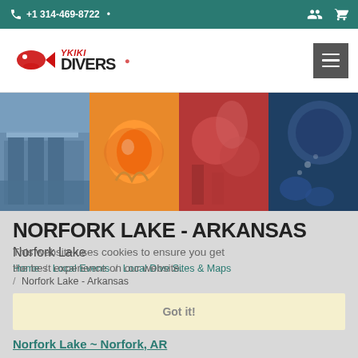+1 314-469-8722
[Figure (logo): YKIKI-DIVERS logo with fish icon]
[Figure (photo): Hero collage of diving and underwater scenes including clownfish, coral reefs, and divers]
NORFORK LAKE - ARKANSAS
This website uses cookies to ensure you get the best experience on our website.
Norfork Lake
Home / Local Events / Local Dive Sites & Maps / Norfork Lake - Arkansas
Got it!
Norfork Lake ~ Norfork, AR